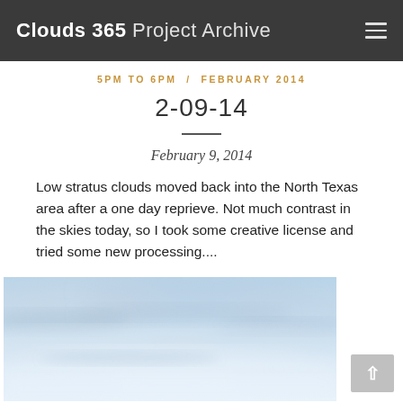Clouds 365 Project Archive
5PM TO 6PM / FEBRUARY 2014
2-09-14
February 9, 2014
Low stratus clouds moved back into the North Texas area after a one day reprieve. Not much contrast in the skies today, so I took some creative license and tried some new processing....
[Figure (photo): Photograph of low stratus clouds over North Texas — pale blue sky with soft white and grey cloud layers, lightly processed with a hazy dreamy look.]